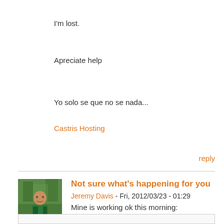I'm lost.
Apreciate help
Yo solo se que no se nada...
Castris Hosting
reply
[Figure (photo): Avatar photo of Jeremy Davis, person in green jacket with trees in background]
Not sure what's happening for you
Jeremy Davis - Fri, 2012/03/23 - 01:29
Mine is working ok this morning: